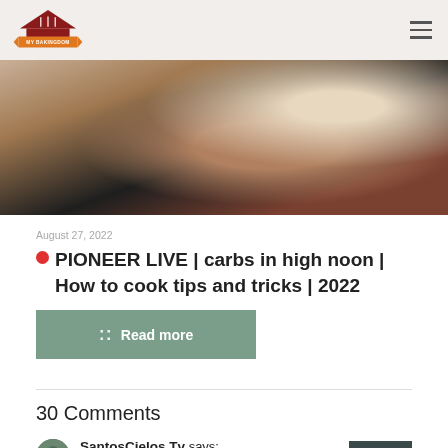MY BAKINGDOM
[Figure (photo): Close-up photo of a man with grey stubble wearing AirPods and a dark t-shirt, with a stone tile wall background]
August 27, 2022
PIONEER LIVE | carbs in high noon | How to cook tips and tricks | 2022
Read more
30 Comments
SantosCielos Tv says: